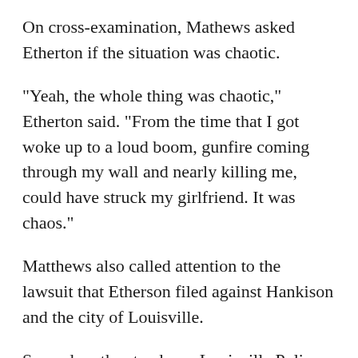On cross-examination, Mathews asked Etherton if the situation was chaotic.
"Yeah, the whole thing was chaotic," Etherton said. "From the time that I got woke up to a loud boom, gunfire coming through my wall and nearly killing me, could have struck my girlfriend. It was chaos."
Matthews also called attention to the lawsuit that Etherson filed against Hankison and the city of Louisville.
Second on the stand was Louisville Police Sgt. Kyle Meany, who was investigating drug trafficking and looking into Taylor's ex-